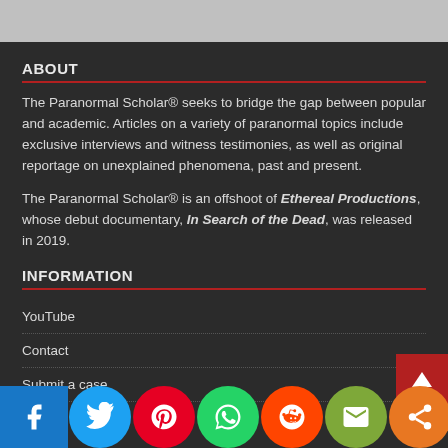ABOUT
The Paranormal Scholar® seeks to bridge the gap between popular and academic. Articles on a variety of paranormal topics include exclusive interviews and witness testimonies, as well as original reportage on unexplained phenomena, past and present.
The Paranormal Scholar® is an offshoot of Ethereal Productions, whose debut documentary, In Search of the Dead, was released in 2019.
INFORMATION
YouTube
Contact
Submit a case
[Figure (other): Social sharing bar with Facebook, Twitter, Pinterest, WhatsApp, Reddit, Email, and Share icons, plus a red back-to-top button]